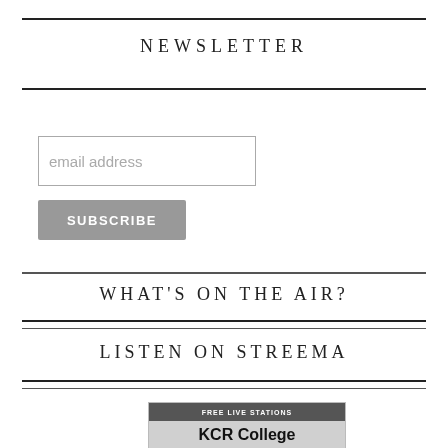NEWSLETTER
email address
SUBSCRIBE
WHAT'S ON THE AIR?
LISTEN ON STREEMA
[Figure (screenshot): Streema widget showing FREE LIVE STATIONS header and KCR College radio station]